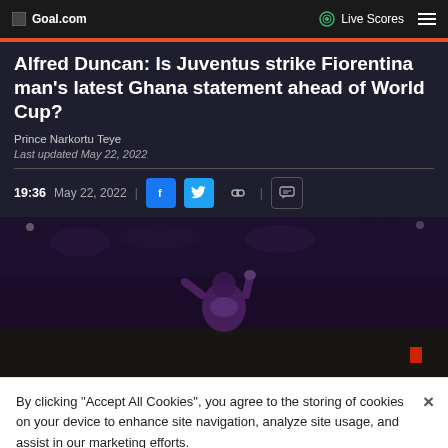Goal.com | Live Scores
Alfred Duncan: Is Juventus strike Fiorentina man's latest Ghana statement ahead of World Cup?
Prince Narkortu Teye
Last updated May 22, 2022
19:36 May 22, 2022
[Figure (photo): A Fiorentina player (Alfred Duncan) in purple kit celebrating on a football pitch at night]
By clicking "Accept All Cookies", you agree to the storing of cookies on your device to enhance site navigation, analyze site usage, and assist in our marketing efforts.